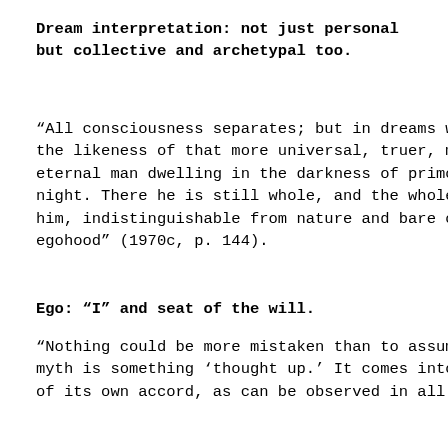Dream interpretation: not just personal but collective and archetypal too.
“All consciousness separates; but in dreams we put on the likeness of that more universal, truer, more eternal man dwelling in the darkness of primordial night. There he is still whole, and the whole is in him, indistinguishable from nature and bare of all egohood” (1970c, p. 144).
Ego: “I” and seat of the will.
“Nothing could be more mistaken than to assume that a myth is something ‘thought up.’ It comes into existence of its own accord, as can be observed in all authentic
Dreams w to patrist the inter of Simon “Paredri” also note to produc